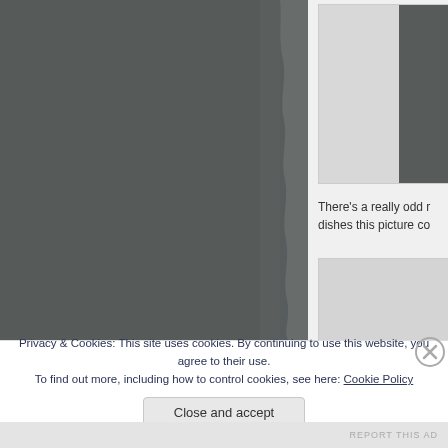[Figure (photo): Large dark grey photograph occupying the left portion of the page, with ragged/torn right edge effect]
[Figure (photo): Small thumbnail image in upper right panel, partially showing a dark image on its right side]
There's a really odd r dishes this picture co
[Figure (photo): Small thumbnail image in lower right panel]
Privacy & Cookies: This site uses cookies. By continuing to use this website, you agree to their use.
To find out more, including how to control cookies, see here: Cookie Policy
Close and accept
REPORT THIS AD